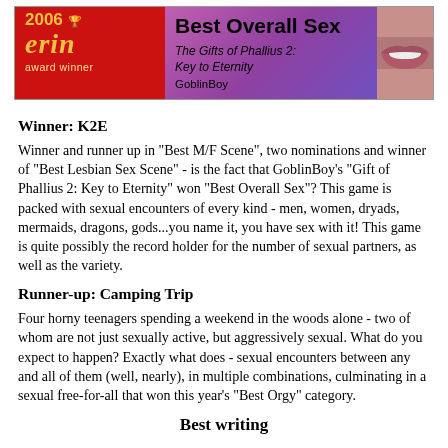[Figure (illustration): 2006 Erin Award Winner banner. Red left section with '2006' and 'erin' in gold italic text and 'award winner' below. Purple/magenta center with 'Best Overall Sex' in bold black, subtitle 'The Gifts of Phallius 2: Key to Eternity' in italic, and 'GoblinBoy' text. Right section shows a close-up of lips/mouth.]
Winner: K2E
Winner and runner up in "Best M/F Scene", two nominations and winner of "Best Lesbian Sex Scene" - is the fact that GoblinBoy's "Gift of Phallius 2: Key to Eternity" won "Best Overall Sex"? This game is packed with sexual encounters of every kind - men, women, dryads, mermaids, dragons, gods...you name it, you have sex with it! This game is quite possibly the record holder for the number of sexual partners, as well as the variety.
Runner-up: Camping Trip
Four horny teenagers spending a weekend in the woods alone - two of whom are not just sexually active, but aggressively sexual. What do you expect to happen? Exactly what does - sexual encounters between any and all of them (well, nearly), in multiple combinations, culminating in a sexual free-for-all that won this year's "Best Orgy" category.
Best writing